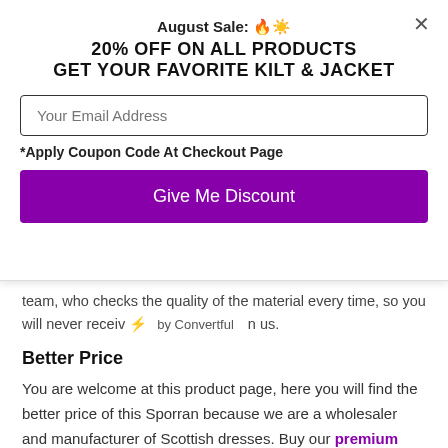August Sale: 🔥☀️
20% OFF ON ALL PRODUCTS
GET YOUR FAVORITE KILT & JACKET
*Apply Coupon Code At Checkout Page
Give Me Discount
team, who checks the quality of the material every time, so you will never receive ⚡ by Convertful n us.
Better Price
You are welcome at this product page, here you will find the better price of this Sporran because we are a wholesaler and manufacturer of Scottish dresses. Buy our premium quality products at a cheap price which is lower than other local stores. So buy your desired product at an affordable price